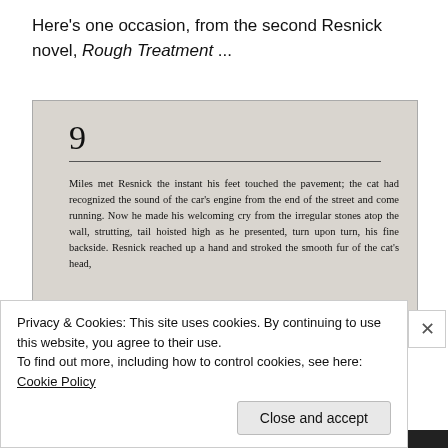Here's one occasion, from the second Resnick novel, Rough Treatment ...
[Figure (screenshot): Scanned page from a novel showing chapter 9 heading with a horizontal rule, followed by text: 'Miles met Resnick the instant his feet touched the pavement; the cat had recognized the sound of the car's engine from the end of the street and come running. Now he made his welcoming cry from the irregular stones atop the wall, strutting, tail hoisted high as he presented, turn upon turn, his fine backside. Resnick reached up a hand and stroked the smooth fur of the cat's head, [text cut off]']
Privacy & Cookies: This site uses cookies. By continuing to use this website, you agree to their use.
To find out more, including how to control cookies, see here: Cookie Policy
Close and accept